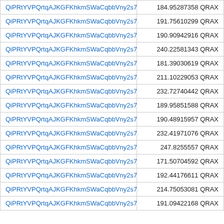| Link | Value |
| --- | --- |
| QiPRtYVPQrtqAJKGFKhkmSWaCqbbVny2s7 | 184.95287358 QRAX |
| QiPRtYVPQrtqAJKGFKhkmSWaCqbbVny2s7 | 191.75610299 QRAX |
| QiPRtYVPQrtqAJKGFKhkmSWaCqbbVny2s7 | 190.90942916 QRAX |
| QiPRtYVPQrtqAJKGFKhkmSWaCqbbVny2s7 | 240.22581343 QRAX |
| QiPRtYVPQrtqAJKGFKhkmSWaCqbbVny2s7 | 181.39030619 QRAX |
| QiPRtYVPQrtqAJKGFKhkmSWaCqbbVny2s7 | 211.10229053 QRAX |
| QiPRtYVPQrtqAJKGFKhkmSWaCqbbVny2s7 | 232.72740442 QRAX |
| QiPRtYVPQrtqAJKGFKhkmSWaCqbbVny2s7 | 189.95851588 QRAX |
| QiPRtYVPQrtqAJKGFKhkmSWaCqbbVny2s7 | 190.48915957 QRAX |
| QiPRtYVPQrtqAJKGFKhkmSWaCqbbVny2s7 | 232.41971076 QRAX |
| QiPRtYVPQrtqAJKGFKhkmSWaCqbbVny2s7 | 247.8255557 QRAX |
| QiPRtYVPQrtqAJKGFKhkmSWaCqbbVny2s7 | 171.50704592 QRAX |
| QiPRtYVPQrtqAJKGFKhkmSWaCqbbVny2s7 | 192.44176611 QRAX |
| QiPRtYVPQrtqAJKGFKhkmSWaCqbbVny2s7 | 214.75053081 QRAX |
| QiPRtYVPQrtqAJKGFKhkmSWaCqbbVny2s7 | 191.09422168 QRAX |